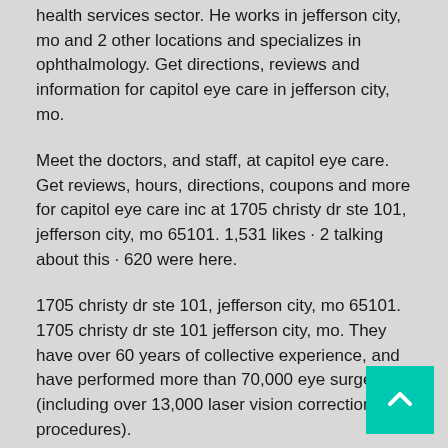health services sector. He works in jefferson city, mo and 2 other locations and specializes in ophthalmology. Get directions, reviews and information for capitol eye care in jefferson city, mo.
Meet the doctors, and staff, at capitol eye care. Get reviews, hours, directions, coupons and more for capitol eye care inc at 1705 christy dr ste 101, jefferson city, mo 65101. 1,531 likes · 2 talking about this · 620 were here.
1705 christy dr ste 101, jefferson city, mo 65101. 1705 christy dr ste 101 jefferson city, mo. They have over 60 years of collective experience, and have performed more than 70,000 eye surgeries (including over 13,000 laser vision correction procedures).
Order online tickets tickets see availability directions. About capitol eye care, inc. Menu & reservations make reservations.
There are 3 health care providers, specializing in ophthalmology, being reported as members of the medi… group. We are continuously inspired by the beauty and